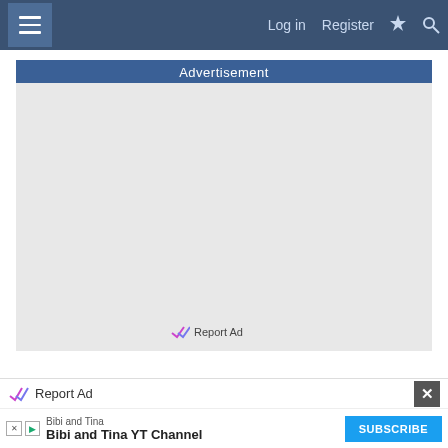Log in  Register
Advertisement
[Figure (other): Empty advertisement placeholder block with gray background]
Report Ad
Report Ad
Bibi and Tina
Bibi and Tina YT Channel  SUBSCRIBE